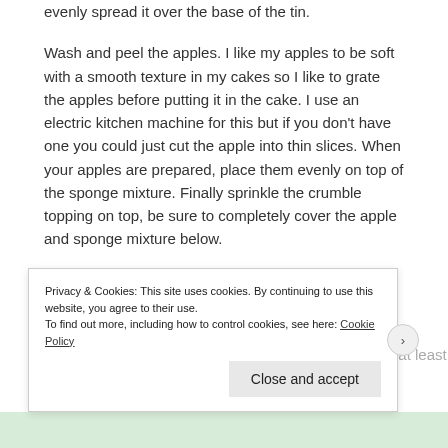evenly spread it over the base of the tin.
Wash and peel the apples. I like my apples to be soft with a smooth texture in my cakes so I like to grate the apples before putting it in the cake. I use an electric kitchen machine for this but if you don't have one you could just cut the apple into thin slices. When your apples are prepared, place them evenly on top of the sponge mixture. Finally sprinkle the crumble topping on top, be sure to completely cover the apple and sponge mixture below.
Place in the oven and bake for 50 minutes, if you insert a skewer into the centre of the cake it should come out clean.
Remove from the oven and allow to cool in the tin for at least
Privacy & Cookies: This site uses cookies. By continuing to use this website, you agree to their use.
To find out more, including how to control cookies, see here: Cookie Policy
Close and accept